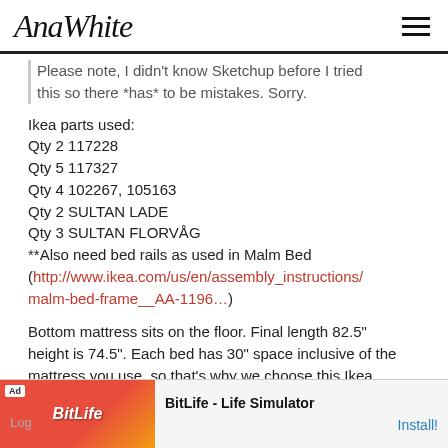AnaWhite
Please note, I didn't know Sketchup before I tried this so there *has* to be mistakes. Sorry.
Ikea parts used:
Qty 2 117228
Qty 5 117327
Qty 4 102267, 105163
Qty 2 SULTAN LADE
Qty 3 SULTAN FLORVÅG
**Also need bed rails as used in Malm Bed (http://www.ikea.com/us/en/assembly_instructions/malm-bed-frame__AA-1196…)
Bottom mattress sits on the floor. Final length 82.5" height is 74.5". Each bed has 30" space inclusive of the mattress you use, so that's why we choose this Ikea model less than 4" tall.
[Figure (other): Advertisement banner for BitLife - Life Simulator app with red/orange background and Install! call to action]